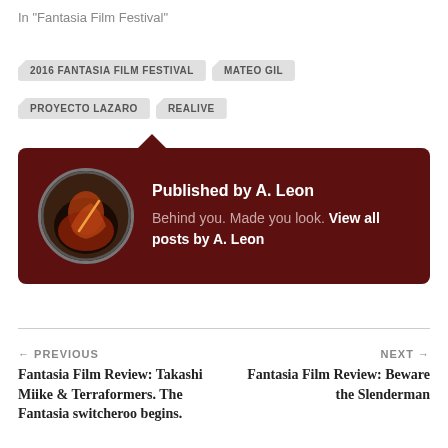In "Fantasia Film Festival"
2016 FANTASIA FILM FESTIVAL
MATEO GIL
PROYECTO LAZARO
REALIVE
[Figure (illustration): Author bio card with dark red background, circular avatar photo of a person in dim orange/red lighting, published by A. Leon. Text: 'Behind you. Made you look. View all posts by A. Leon']
← PREVIOUS
Fantasia Film Review: Takashi Miike & Terraformers. The Fantasia switcheroo begins.
NEXT →
Fantasia Film Review: Beware the Slenderman